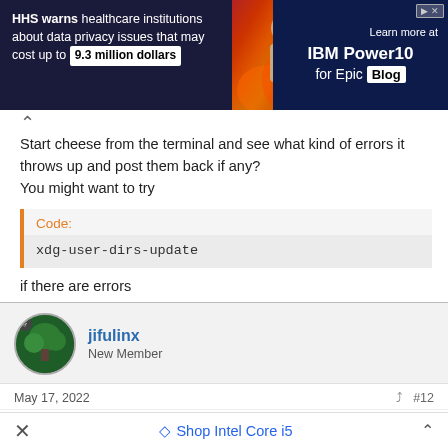[Figure (screenshot): Advertisement banner: HHS warns healthcare institutions about data privacy issues that may cost up to 9.3 million dollars / Learn more at IBM Power10 for Epic Blog]
Start cheese from the terminal and see what kind of errors it throws up and post them back if any?
You might want to try
Code:
xdg-user-dirs-update
if there are errors
jifulinx
New Member
May 17, 2022  #12
it's the same I posted before
Shop Intel Core i5